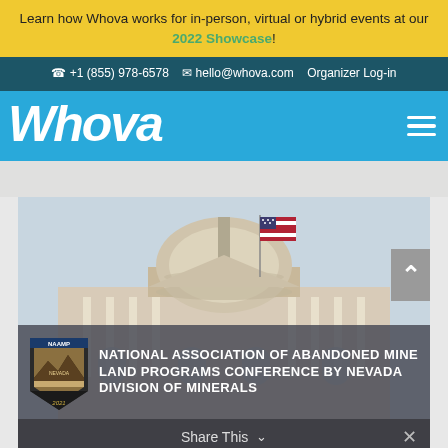Learn how Whova works for in-person, virtual or hybrid events at our 2022 Showcase!
+1 (855) 978-6578  hello@whova.com  Organizer Log-in
[Figure (logo): Whova logo in white italic script on blue background with hamburger menu icon]
[Figure (photo): Photograph of the US Capitol building dome with American flag, overlaid with NAAMP Nevada logo and event title text overlay]
NATIONAL ASSOCIATION OF ABANDONED MINE LAND PROGRAMS CONFERENCE BY NEVADA DIVISION OF MINERALS
Share This  ∨